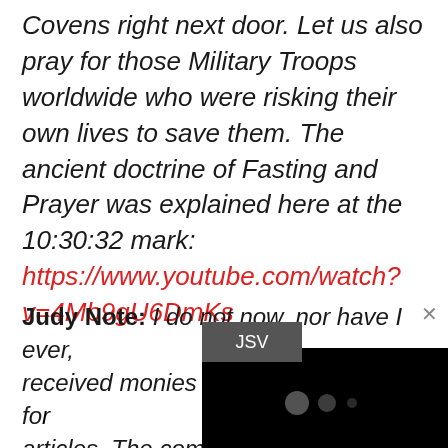Covens right next door. Let us also pray for those Military Troops worldwide who were risking their own lives to save them. The ancient doctrine of Fasting and Prayer was explained here at the 10:30:32 mark: https://www.youtube.com/watch?v=4Mb9gU6DmKs
Judy Note: I do not now, nor have I ever, received monies fo[r writing these] articles. The comp[ensation comes from] outlets to help Sa[ve the Children and expose] truths about the ve[ry real] A/buse, Ped/ophilia and Chi/ld Sac/rifice that
[Figure (screenshot): Black video overlay with JSV tooltip and close button (x), with three grey dots indicating video loading]